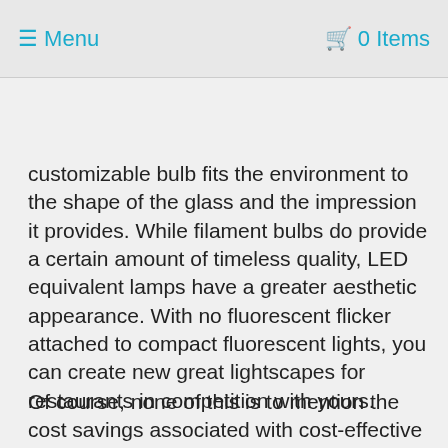≡ Menu   🛒 0 Items
customizable bulb fits the environment to the shape of the glass and the impression it provides. While filament bulbs do provide a certain amount of timeless quality, LED equivalent lamps have a greater aesthetic appearance. With no fluorescent flicker attached to compact fluorescent lights, you can create new great lightscapes for restaurants in competition with yours.
Of course, none of this is to mention the cost savings associated with cost-effective lighting. In the fickle world of the restaurant business, you'll need all the advantages you can get, and LED lighting can help you improve.